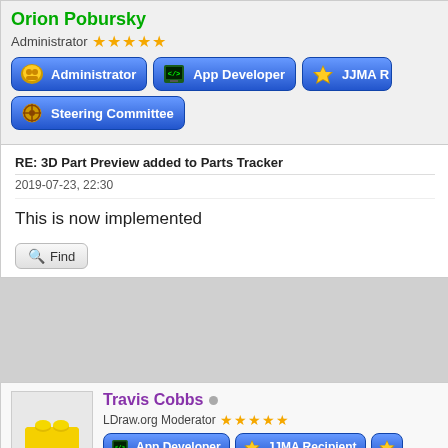Orion Pobursky
Administrator ★★★★★
[Figure (infographic): Blue badge buttons: Administrator, App Developer, JJMA R (partially visible), Steering Committee]
RE: 3D Part Preview added to Parts Tracker
2019-07-23, 22:30
This is now implemented
Find
Travis Cobbs
LDraw.org Moderator ★★★★★
[Figure (infographic): Blue badge buttons: App Developer, JJMA Recipient, and partially visible third badge]
RE: 3D Part Preview added to Parts Tracker